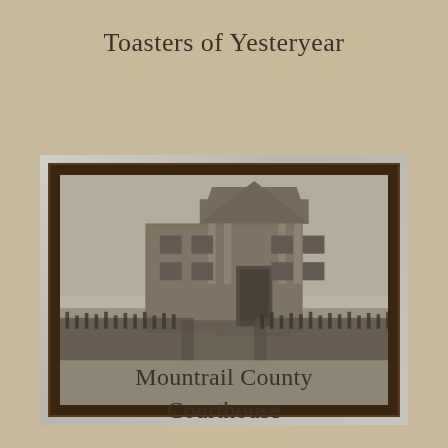Toasters of Yesteryear
[Figure (photo): A framed panoramic black-and-white photograph displayed on a light surface. The photo shows a classical-style courthouse building with a triangular pediment and columns, with a large crowd of people gathered in front of it on the lawn.]
Mountrail County Courthouse